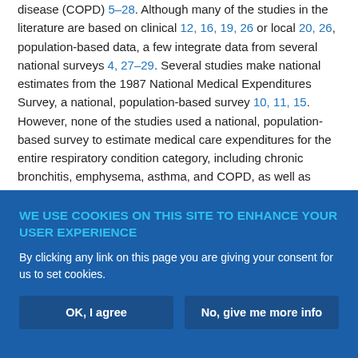disease (COPD) 5–28. Although many of the studies in the literature are based on clinical 12, 16, 19, 26 or local 20, 26, population-based data, a few integrate data from several national surveys 4, 27–29. Several studies make national estimates from the 1987 National Medical Expenditures Survey, a national, population-based survey 10, 11, 15. However, none of the studies used a national, population-based survey to estimate medical care expenditures for the entire respiratory condition category, including chronic bronchitis, emphysema, asthma, and COPD, as well as several less prevalent conditions. Moreover, prior national, population-based studies of specific disease entities 4, 10, 11, 15, 27–29 may be outdated because they are based on data that precede much of the growth in
WE USE COOKIES ON THIS SITE TO ENHANCE YOUR USER EXPERIENCE
By clicking any link on this page you are giving your consent for us to set cookies.